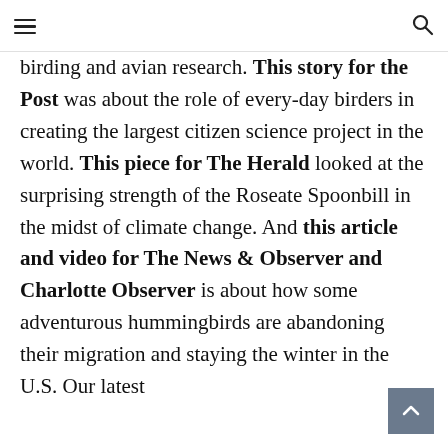[hamburger menu] [search icon]
birding and avian research. This story for the Post was about the role of every-day birders in creating the largest citizen science project in the world. This piece for The Herald looked at the surprising strength of the Roseate Spoonbill in the midst of climate change. And this article and video for The News & Observer and Charlotte Observer is about how some adventurous hummingbirds are abandoning their migration and staying the winter in the U.S. Our latest